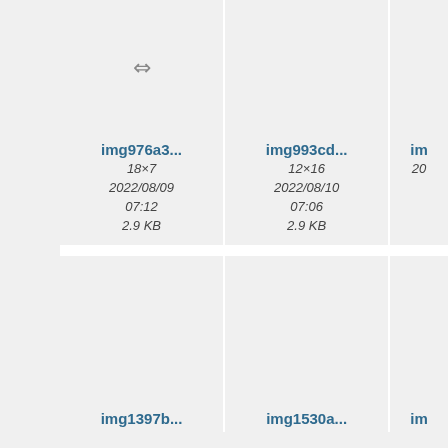[Figure (screenshot): File browser grid view showing image thumbnails with filenames, dimensions, dates, and file sizes. Row 1: img976a3... (18×7, 2022/08/09 07:12, 2.9 KB), img993cd... (12×16, 2022/08/10 07:06, 2.9 KB), and a partially visible third card. Row 2: img1397b... (12×15, 2022/08/10 07:01, 2.8 KB), img1530a... (581×17, 2022/08/08 22:57, 4.6 KB), and a partially visible third card. A third partial row is visible at the bottom.]